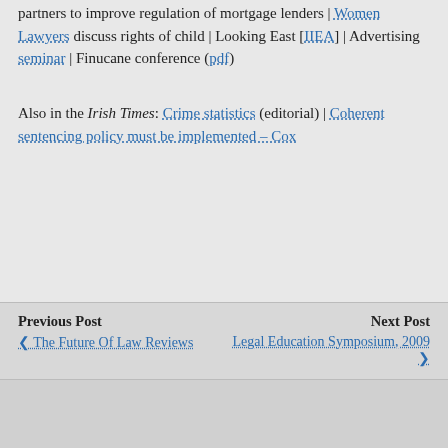partners to improve regulation of mortgage lenders | Women Lawyers discuss rights of child | Looking East [IIEA] | Advertising seminar | Finucane conference (pdf)
Also in the Irish Times: Crime statistics (editorial) | Coherent sentencing policy must be implemented – Cox
Previous Post: The Future Of Law Reviews | Next Post: Legal Education Symposium, 2009